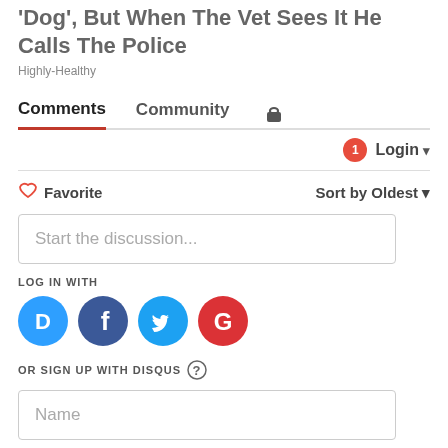'Dog', But When The Vet Sees It He Calls The Police
Highly-Healthy
Comments  Community  🔒
1  Login ▾
♡ Favorite   Sort by Oldest ▾
Start the discussion...
LOG IN WITH
[Figure (other): Social login buttons: Disqus (blue), Facebook (dark blue), Twitter (light blue), Google (red)]
OR SIGN UP WITH DISQUS ?
Name